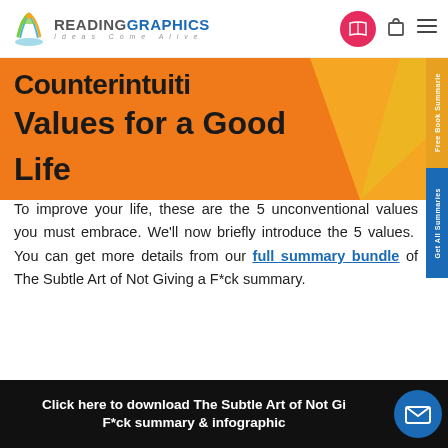READINGRAPHICS — Ideas Come Alive
[Figure (illustration): Orange banner with bold text 'Counterintuitive Values for a Good Life', with a yellow decorative triangle on the right side]
To improve your life, these are the 5 unconventional values you must embrace. We'll now briefly introduce the 5 values. You can get more details from our full summary bundle of The Subtle Art of Not Giving a F*ck summary.
Click here to download The Subtle Art of Not Giving a F*ck summary & infographic